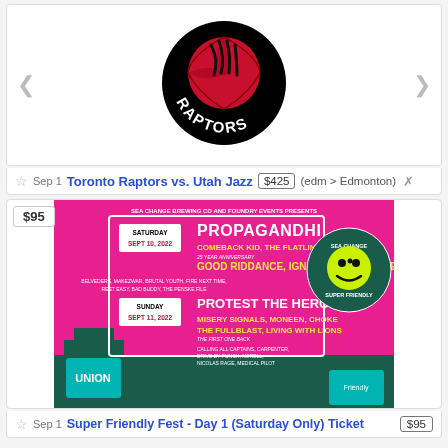[Figure (logo): Toronto Raptors NBA team logo - black circular logo with red basketball and claw marks, white text RAPTORS at bottom]
Sep 1  Toronto Raptors vs. Utah Jazz  $425  (edm > Edmonton)  ✕
[Figure (photo): Sea Change Brewing Co and Foundry Events presents Super Friendly Fest poster. Saturday Sept 10 2022: Propagandhi, Comeback Kid, The Flatliners, Good Riddance, Ignite, Compromise, Belvedere, Makezwar, Brutal Youth, Fire Next Time, Rest Easy, Bad Buddy, The Penske File. Sunday Sept 11 2022: Protest The Hero, Misery Signals, Moneen, Choke, The Fullblast, Living With Lions, Calling All Captains, Carpenter, Drive By Punch, Norell, Nicolas Rage, Medical Pilot.]
Sep 1  Super Friendly Fest - Day 1 (Saturday Only) Ticket  $95